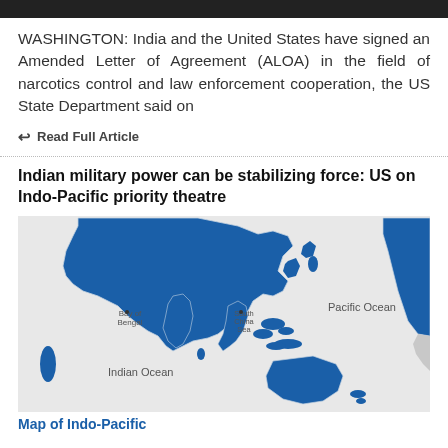[Figure (photo): Dark banner image at top of page]
WASHINGTON: India and the United States have signed an Amended Letter of Agreement (ALOA) in the field of narcotics control and law enforcement cooperation, the US State Department said on
Read Full Article
Indian military power can be stabilizing force: US on Indo-Pacific priority theatre
[Figure (map): Map of Indo-Pacific region showing blue-highlighted countries across Asia, Oceania, and the western coast of North America, with labels for Bay of Bengal, South China Sea, Pacific Ocean, Indian Ocean]
Map of Indo-Pacific